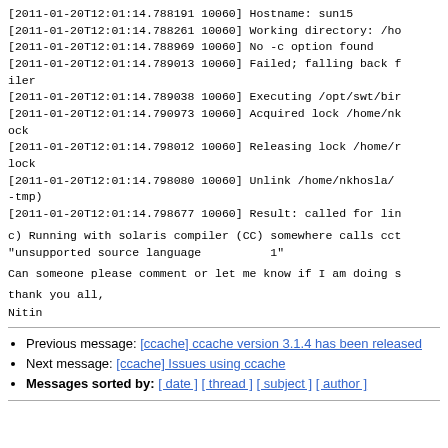[2011-01-20T12:01:14.788191 10060] Hostname: sun15
[2011-01-20T12:01:14.788261 10060] Working directory: /ho
[2011-01-20T12:01:14.788969 10060] No -c option found
[2011-01-20T12:01:14.789013 10060] Failed; falling back f
iler
[2011-01-20T12:01:14.789038 10060] Executing /opt/swt/bir
[2011-01-20T12:01:14.790973 10060] Acquired lock /home/nk
ock
[2011-01-20T12:01:14.798012 10060] Releasing lock /home/r
lock
[2011-01-20T12:01:14.798080 10060] Unlink /home/nkhosla/
-tmp)
[2011-01-20T12:01:14.798677 10060] Result: called for lin
c) Running with solaris compiler (CC) somewhere calls cct
"unsupported source language          1"
Can someone please comment or let me know if I am doing s
thank you all,
Nitin
Previous message: [ccache] ccache version 3.1.4 has been released
Next message: [ccache] Issues using ccache
Messages sorted by: [ date ] [ thread ] [ subject ] [ author ]